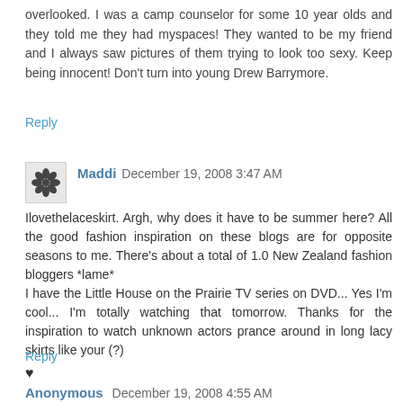overlooked. I was a camp counselor for some 10 year olds and they told me they had myspaces! They wanted to be my friend and I always saw pictures of them trying to look too sexy. Keep being innocent! Don't turn into young Drew Barrymore.
Reply
Maddi  December 19, 2008 3:47 AM
Ilovethelaceskirt. Argh, why does it have to be summer here? All the good fashion inspiration on these blogs are for opposite seasons to me. There's about a total of 1.0 New Zealand fashion bloggers *lame*
I have the Little House on the Prairie TV series on DVD... Yes I'm cool... I'm totally watching that tomorrow. Thanks for the inspiration to watch unknown actors prance around in long lacy skirts like your one =] (?)
♥
Reply
Anonymous  December 19, 2008 4:55 AM